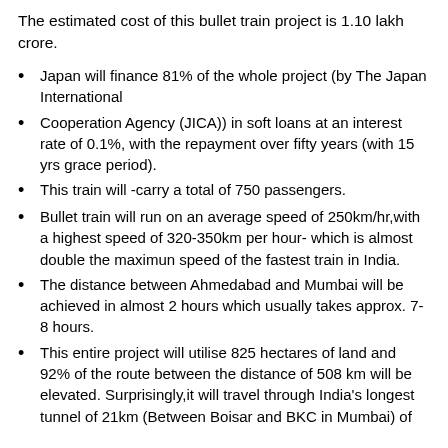The estimated cost of this bullet train project is 1.10 lakh crore.
Japan will finance 81% of the whole project (by The Japan International
Cooperation Agency (JICA)) in soft loans at an interest rate of 0.1%, with the repayment over fifty years (with 15 yrs grace period).
This train will -carry a total of 750 passengers.
Bullet train will run on an average speed of 250km/hr,with a highest speed of 320-350km per hour- which is almost double the maximun speed of the fastest train in India.
The distance between Ahmedabad and Mumbai will be achieved in almost 2 hours which usually takes approx. 7-8 hours.
This entire project will utilise 825 hectares of land and 92% of the route between the distance of 508 km will be elevated. Surprisingly,it will travel through India's longest tunnel of 21km (Between Boisar and BKC in Mumbai) of